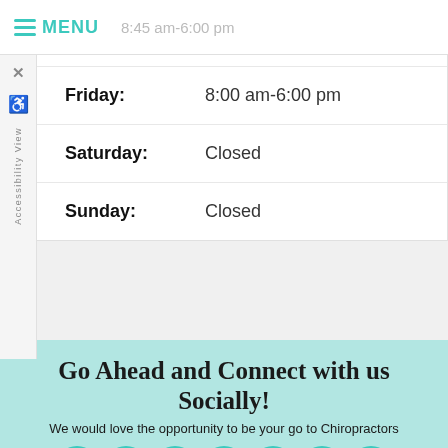MENU  8:45 am-6:00 pm
| Day | Hours |
| --- | --- |
| Friday: | 8:00 am-6:00 pm |
| Saturday: | Closed |
| Sunday: | Closed |
Go Ahead and Connect with us Socially!
We would love the opportunity to be your go to Chiropractors
[Figure (illustration): Row of teal circular social media icon buttons (photo/instagram, email, linkedin, Yelp, YouTube, Facebook, Twitter)]